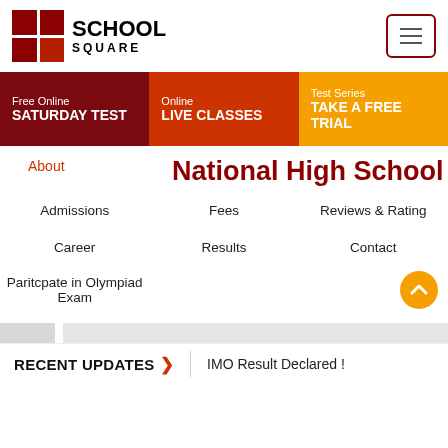[Figure (logo): School Square logo with red grid squares and text SCHOOL SQUARE]
Free Online SATURDAY TEST | Online LIVE CLASSES | Test Series TAKE A FREE TRIAL
About
National High School
Admissions
Fees
Reviews & Rating
Career
Results
Contact
Paritcpate in Olympiad Exam
RECENT UPDATES > IMO Result Declared